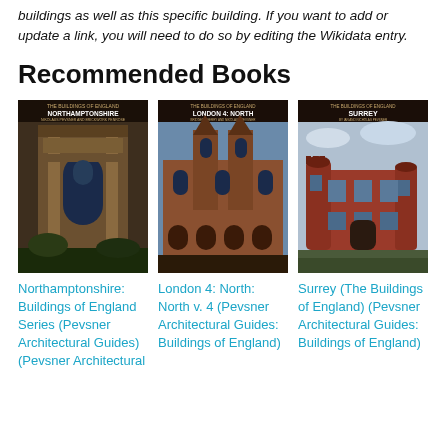buildings as well as this specific building. If you want to add or update a link, you will need to do so by editing the Wikidata entry.
Recommended Books
[Figure (photo): Book cover of Northamptonshire: Buildings of England Series (Pevsner Architectural Guides) (Pevsner Architectural — showing ornate stone archway facade]
[Figure (photo): Book cover of London 4: North: North v. 4 (Pevsner Architectural Guides: Buildings of England) — showing Gothic-style brick building facade]
[Figure (photo): Book cover of Surrey (The Buildings of England) (Pevsner Architectural Guides: Buildings of England) — showing red brick manor building]
Northamptonshire: Buildings of England Series (Pevsner Architectural Guides) (Pevsner Architectural
London 4: North: North v. 4 (Pevsner Architectural Guides: Buildings of England)
Surrey (The Buildings of England) (Pevsner Architectural Guides: Buildings of England)